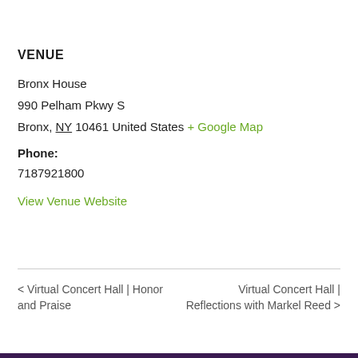VENUE
Bronx House
990 Pelham Pkwy S
Bronx, NY 10461 United States + Google Map
Phone:
7187921800
View Venue Website
< Virtual Concert Hall | Honor and Praise
Virtual Concert Hall | Reflections with Markel Reed >